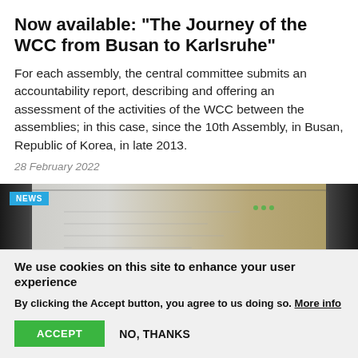Now available: “The Journey of the WCC from Busan to Karlsruhe”
For each assembly, the central committee submits an accountability report, describing and offering an assessment of the activities of the WCC between the assemblies; in this case, since the 10th Assembly, in Busan, Republic of Korea, in late 2013.
28 February 2022
[Figure (photo): Photo of a tablet or printed document on a surface, with a NEWS badge overlay in the top left corner in blue.]
We use cookies on this site to enhance your user experience
By clicking the Accept button, you agree to us doing so. More info
ACCEPT    NO, THANKS